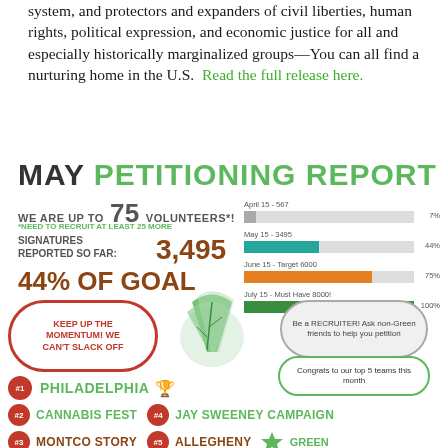system, and protectors and expanders of civil liberties, human rights, political expression, and economic justice for all and especially historically marginalized groups—You can all find a nurturing home in the U.S.  Read the full release here.
[Figure (infographic): May Petitioning Report infographic showing volunteer count (75), signatures reported (3,495), 44% of goal, progress bars for April 15 (7%), May 15 (44%), June 15 target (75%), July 15 must have (100%), speech bubble saying Keep up the momentum WE CAN'T SLACK OFF, recruiter message, congrats to top 5 teams, and Philadelphia ranked #1, Cannabis Fest #2, Jay Sweeney Campaign #4, and partial rows below.]